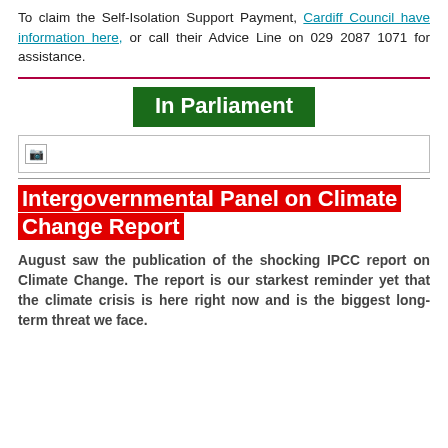To claim the Self-Isolation Support Payment, Cardiff Council have information here, or call their Advice Line on 029 2087 1071 for assistance.
In Parliament
[Figure (photo): Broken/missing image placeholder]
Intergovernmental Panel on Climate Change Report
August saw the publication of the shocking IPCC report on Climate Change. The report is our starkest reminder yet that the climate crisis is here right now and is the biggest long-term threat we face.